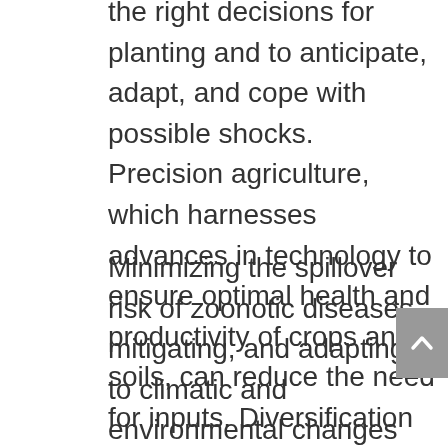the right decisions for planting and to anticipate, adapt, and cope with possible shocks. Precision agriculture, which harnesses advances in technology to ensure optimal health and productivity of crops and soils, can reduce the need for inputs. Diversification of livestock and agricultural traits can help farmers to reduce production risks in marginal environmental conditions.
Minimizing the spillover risk of zoonotic diseases, mitigating, and adapting to climatic and environmental changes place additional demands on food systems, but also offer new opportunities. Living sustainably requires comprehensively managing land use, enabling for food production, but maintaining and recovering critical ecosystem